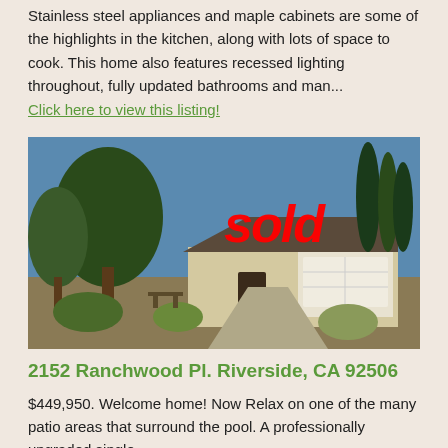Stainless steel appliances and maple cabinets are some of the highlights in the kitchen, along with lots of space to cook. This home also features recessed lighting throughout, fully updated bathrooms and man...
Click here to view this listing!
[Figure (photo): Exterior photo of a single-story house with trees and landscaping in the front yard, with a large red italic 'sold' text overlaid on the image]
2152 Ranchwood Pl. Riverside, CA 92506
$449,950. Welcome home! Now Relax on one of the many patio areas that surround the pool. A professionally upgraded single...